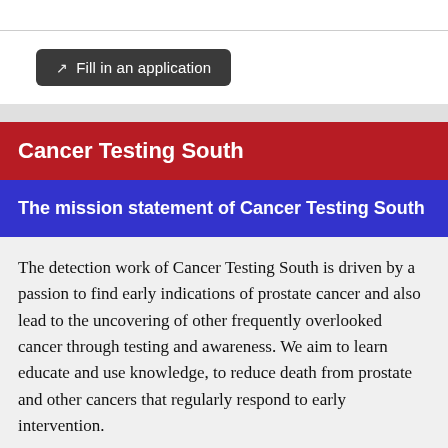Fill in an application
Cancer Testing South
The mission statement of Cancer Testing South
The detection work of Cancer Testing South is driven by a passion to find early indications of prostate cancer and also lead to the uncovering of other frequently overlooked cancer through testing and awareness. We aim to learn educate and use knowledge, to reduce death from prostate and other cancers that regularly respond to early intervention.